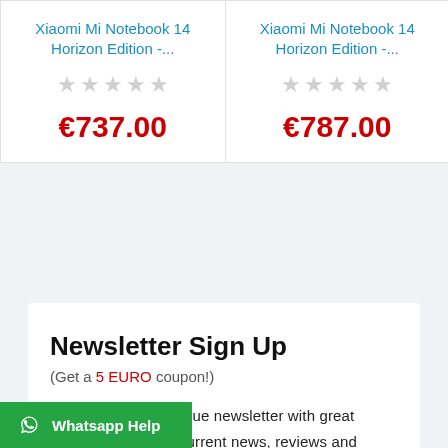Xiaomi Mi Notebook 14 Horizon Edition -...
€737.00
Xiaomi Mi Notebook 14 Horizon Edition -...
€787.00
Newsletter Sign Up
(Get a 5 EURO coupon!)
Benefit from our unique newsletter with great offers, helpful tips, current news, reviews and attractive review/refurbished sales.
Whatsapp Help